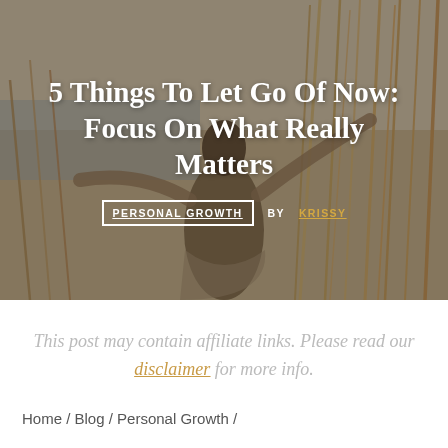[Figure (photo): Woman standing in a golden wheat field with arms outstretched, seen from behind, with a misty lake in background. Warm golden-tan tones with a semi-transparent dark overlay.]
5 Things To Let Go Of Now: Focus On What Really Matters
PERSONAL GROWTH   BY KRISSY
This post may contain affiliate links. Please read our disclaimer for more info.
Home / Blog / Personal Growth /